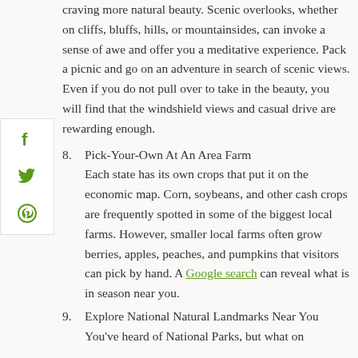craving more natural beauty. Scenic overlooks, whether on cliffs, bluffs, hills, or mountainsides, can invoke a sense of awe and offer you a meditative experience. Pack a picnic and go on an adventure in search of scenic views. Even if you do not pull over to take in the beauty, you will find that the windshield views and casual drive are rewarding enough.
8. Pick-Your-Own At An Area Farm
Each state has its own crops that put it on the economic map. Corn, soybeans, and other cash crops are frequently spotted in some of the biggest local farms. However, smaller local farms often grow berries, apples, peaches, and pumpkins that visitors can pick by hand. A Google search can reveal what is in season near you.
9. Explore National Natural Landmarks Near You
You've heard of National Parks, but what on...